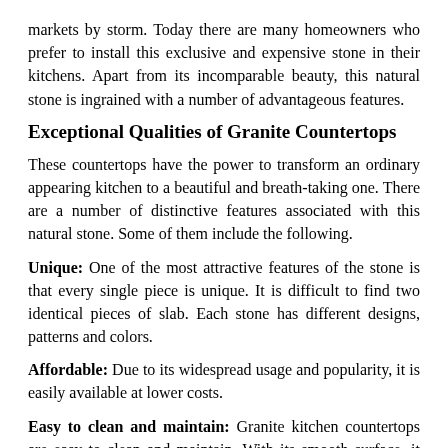markets by storm. Today there are many homeowners who prefer to install this exclusive and expensive stone in their kitchens. Apart from its incomparable beauty, this natural stone is ingrained with a number of advantageous features.
Exceptional Qualities of Granite Countertops
These countertops have the power to transform an ordinary appearing kitchen to a beautiful and breath-taking one. There are a number of distinctive features associated with this natural stone. Some of them include the following.
Unique: One of the most attractive features of the stone is that every single piece is unique. It is difficult to find two identical pieces of slab. Each stone has different designs, patterns and colors.
Affordable: Due to its widespread usage and popularity, it is easily available at lower costs.
Easy to clean and maintain: Granite kitchen countertops are easy to clean and maintain. With its smooth surface, it seldom retains any kind of dirt or stain.
Hygienic: The granite kitchen countertops have non-porous